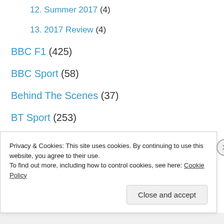12. Summer 2017 (4)
13. 2017 Review (4)
BBC F1 (425)
BBC Sport (58)
Behind The Scenes (37)
BT Sport (253)
Channel 4 (24)
Channel 4 F1 (288)
Eurosport (157)
F1 Digital+ (4)
Privacy & Cookies: This site uses cookies. By continuing to use this website, you agree to their use. To find out more, including how to control cookies, see here: Cookie Policy
Close and accept